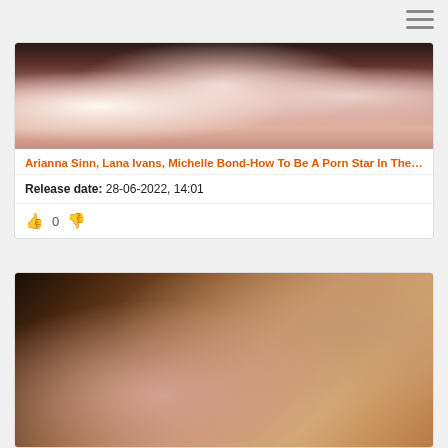[Figure (other): Hamburger/menu icon with three horizontal lines in top right corner]
[Figure (photo): Photo of three women with dark hair smiling, wearing colorful outfits]
Arianna Sinn, Lana Ivans, Michelle Bond-How To Be A Porn Star In The ...
Release date: 28-06-2022, 14:01
👍 0 👎
[Figure (photo): Photo showing two people in close-up, one appearing to be engaging with the other near the midsection]